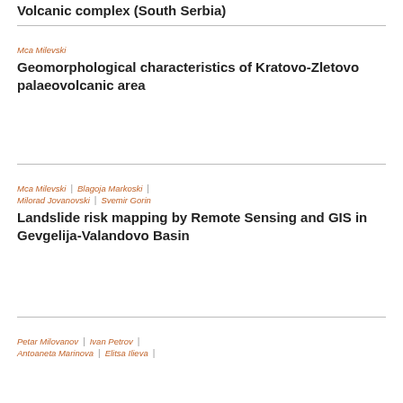Volcanic complex (South Serbia)
Mca Milevski
Geomorphological characteristics of Kratovo-Zletovo palaeovolcanic area
Mca Milevski | Blagoja Markoski | Milorad Jovanovski | Svemir Gorin
Landslide risk mapping by Remote Sensing and GIS in Gevgelija-Valandovo Basin
Petar Milovanov | Ivan Petrov | Antoaneta Marinova | Elitsa Ilieva